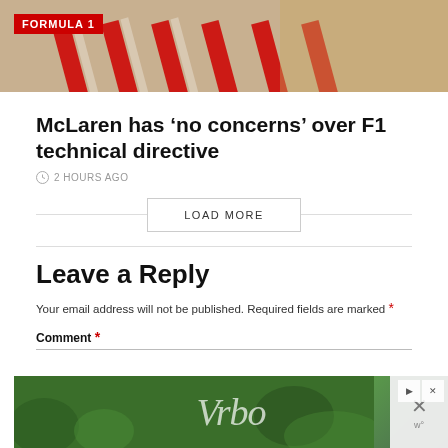[Figure (photo): Hero image with red and white diagonal stripes, Formula 1 red badge overlay in top left]
McLaren has ‘no concerns’ over F1 technical directive
2 HOURS AGO
LOAD MORE
Leave a Reply
Your email address will not be published. Required fields are marked *
Comment *
[Figure (screenshot): Vrbo advertisement banner with green background and stylized Vrbo text]